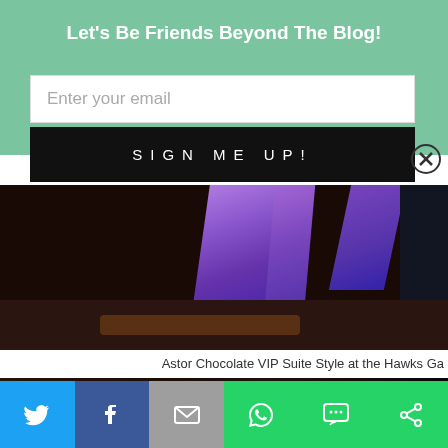Let's Be Friends Beyond The Blog!
Enter your email
SIGN ME UP!
[Figure (photo): Dark photo showing purple ribbons or ties against a dark brown/black background, likely chocolates or event decor]
Astor Chocolate VIP Suite Style at the Hawks Ga
[Figure (photo): Photo of a young woman with straight black hair sitting in a dark venue interior]
Social sharing buttons: Twitter, Facebook, Email, WhatsApp, SMS, Other